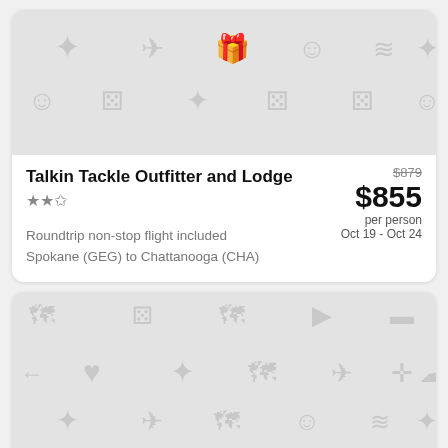[Figure (photo): Hotel listing card image placeholder with travel icons pattern (flights, smiley faces, game dice, sparkle stars) on light gray background for Talkin Tackle Outfitter and Lodge]
Talkin Tackle Outfitter and Lodge
★★✩ (2.5 stars)
$879 (strikethrough) $855 per person Oct 19 - Oct 24
Roundtrip non-stop flight included
Spokane (GEG) to Chattanooga (CHA)
[Figure (photo): Hotel listing card image placeholder with travel icons pattern (hearts, sparkle stars, maps, airplane, fork/knife, cloud) on light gray background for Knights Inn Chattanooga]
Knights Inn Chattanooga
$812 (strikethrough)